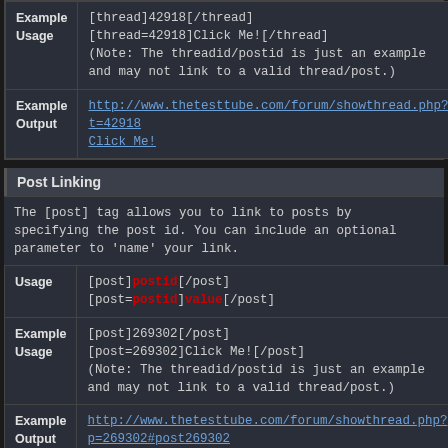| Label | Value |
| --- | --- |
| Example Usage | [thread]42918[/thread]
[thread=42918]Click Me![/thread]
(Note: The threadid/postid is just an example and may not link to a valid thread/post.) |
| Example Output | http://www.thetesttube.com/forum/showthread.php?t=42918
Click Me! |
Post Linking
The [post] tag allows you to link to posts by specifying the post id. You can include an optional parameter to 'name' your link.
| Label | Value |
| --- | --- |
| Usage | [post]postid[/post]
[post=postid]value[/post] |
| Example Usage | [post]269302[/post]
[post=269302]Click Me![/post]
(Note: The threadid/postid is just an example and may not link to a valid thread/post.) |
| Example Output | http://www.thetesttube.com/forum/showthread.php?p=269302#post269302
Click Me! |
Bulleted Lists
The [list] tag allows you to create simple, bulleted lists without specifying an option. Within the value portion, each bullet is denoted by the [*] tag.